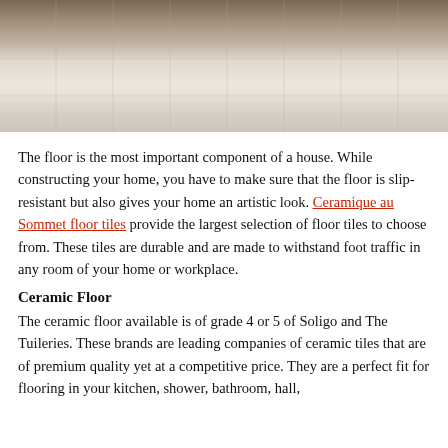[Figure (photo): A bright modern living room with large polished light beige/grey marble-look floor tiles, with dark wooden furniture visible in the background and a white coffee table area.]
The floor is the most important component of a house. While constructing your home, you have to make sure that the floor is slip-resistant but also gives your home an artistic look. Ceramique au Sommet floor tiles provide the largest selection of floor tiles to choose from. These tiles are durable and are made to withstand foot traffic in any room of your home or workplace.
Ceramic Floor
The ceramic floor available is of grade 4 or 5 of Soligo and The Tuileries. These brands are leading companies of ceramic tiles that are of premium quality yet at a competitive price. They are a perfect fit for flooring in your kitchen, shower, bathroom, hall,